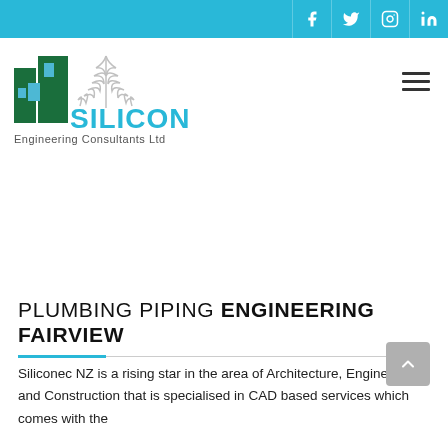Silicon Engineering Consultants Ltd - social bar with Facebook, Twitter, Instagram, LinkedIn icons
[Figure (logo): Silicon Engineering Consultants Ltd logo with building icon and silver fern leaf]
PLUMBING PIPING ENGINEERING FAIRVIEW
Siliconec NZ is a rising star in the area of Architecture, Engineering, and Construction that is specialised in CAD based services which comes with the